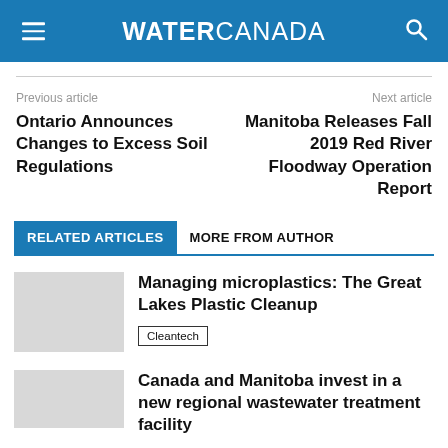WATER CANADA
Previous article
Ontario Announces Changes to Excess Soil Regulations
Next article
Manitoba Releases Fall 2019 Red River Floodway Operation Report
RELATED ARTICLES   MORE FROM AUTHOR
Managing microplastics: The Great Lakes Plastic Cleanup
Cleantech
Canada and Manitoba invest in a new regional wastewater treatment facility